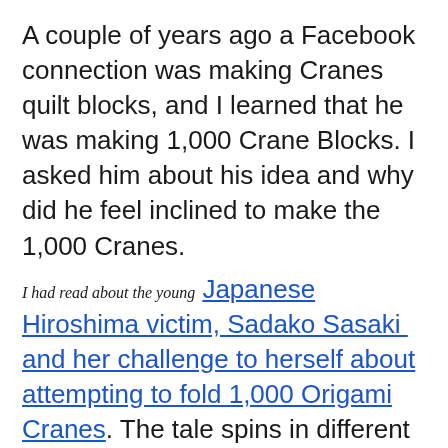A couple of years ago a Facebook connection was making Cranes quilt blocks, and I learned that he was making 1,000 Crane Blocks. I asked him about his idea and why did he feel inclined to make the 1,000 Cranes.
I had read about the young Japanese Hiroshima victim, Sadako Sasaki and her challenge to herself about attempting to fold 1,000 Origami Cranes. The tale spins in different directions whether she survived her goal before she passed away from complications attributed to the nuclear